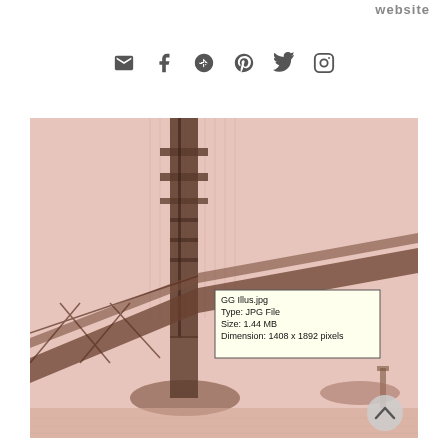website
[Figure (illustration): Social media icons: email, Facebook, Google+, Pinterest, Twitter, Instagram]
[Figure (illustration): Illustration/drawing of the Golden Gate Bridge tower from below, in sepia/brown tones on pink-beige background. A tooltip overlay shows file info: GG Illus.jpg, Type: JPG File, Size: 1.44 MB, Dimension: 1408 x 1892 pixels. A circular back-to-top arrow button is in the bottom-right corner.]